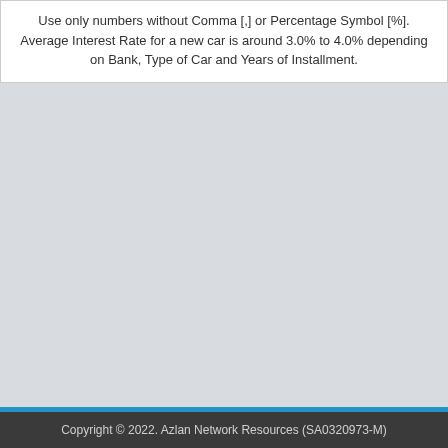Use only numbers without Comma [,] or Percentage Symbol [%]. Average Interest Rate for a new car is around 3.0% to 4.0% depending on Bank, Type of Car and Years of Installment.
Copyright © 2022. Azlan Network Resources (SA0320973-M)